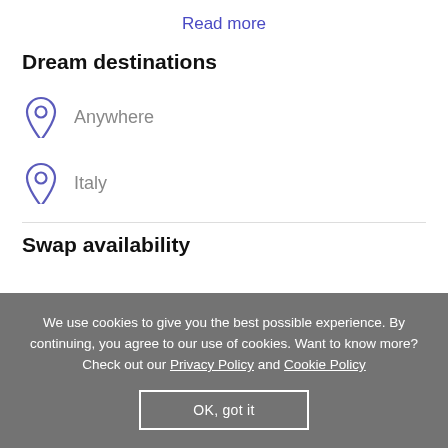Read more
Dream destinations
Anywhere
Italy
Swap availability
We use cookies to give you the best possible experience. By continuing, you agree to our use of cookies. Want to know more? Check out our Privacy Policy and Cookie Policy
OK, got it